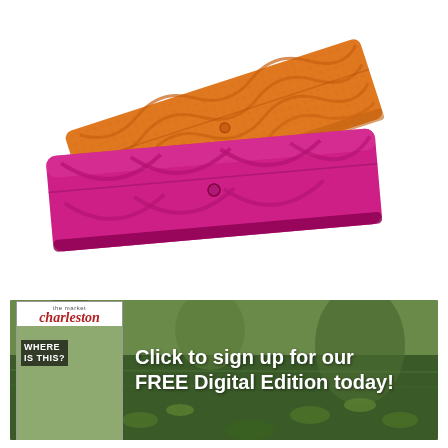[Figure (photo): Two textured leather clutch bags/wallets displayed on white background. One is orange/amber colored with crocodile-like embossed texture, positioned diagonally at the top. The other is bright magenta/hot pink with a similar exotic leather texture, positioned in the foreground at the bottom.]
[Figure (photo): Advertisement banner with pond/lily pad background (dark green with water lilies). On the left is a magazine cover for 'charleston' magazine showing a 'WHERE IS THIS?' feature. On the right is white bold text reading 'Click to sign up for our FREE Digital Edition today!']